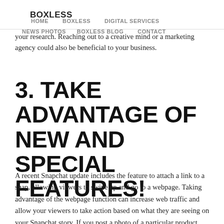BOXLESS
HOME   BOXLESS   DIGITAL SERVICES   NEWS PHOTOS   BOXLESS BLOG   CONTACT
your research. Reaching out to a creative mind or a marketing agency could also be beneficial to your business.
3. TAKE ADVANTAGE OF NEW AND SPECIAL FEATURES!
A recent Snapchat update includes the feature to attach a link to a snap, allowing viewers to swipe up and go to a webpage. Taking advantage of the webpage function can increase web traffic and allow your viewers to take action based on what they are seeing on your Snapchat story. If you post a photo of a particular product, attach a link to